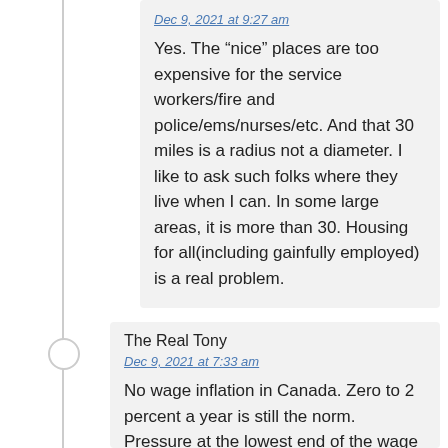Dec 9, 2021 at 9:27 am
Yes. The “nice” places are too expensive for the service workers/fire and police/ems/nurses/etc. And that 30 miles is a radius not a diameter. I like to ask such folks where they live when I can. In some large areas, it is more than 30. Housing for all(including gainfully employed) is a real problem.
The Real Tony
Dec 9, 2021 at 7:33 am
No wage inflation in Canada. Zero to 2 percent a year is still the norm. Pressure at the lowest end of the wage scale but those jobs go